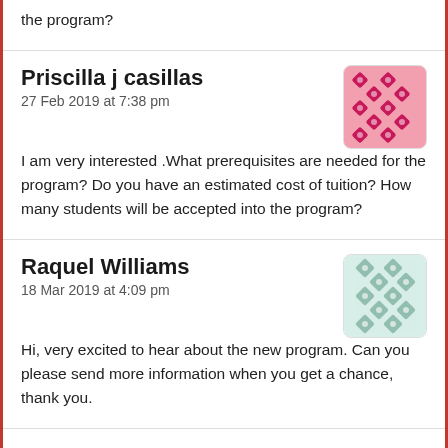the program?
Priscilla j casillas
27 Feb 2019 at 7:38 pm

I am very interested .What prerequisites are needed for the program? Do you have an estimated cost of tuition? How many students will be accepted into the program?
Raquel Williams
18 Mar 2019 at 4:09 pm

Hi, very excited to hear about the new program. Can you please send more information when you get a chance, thank you.